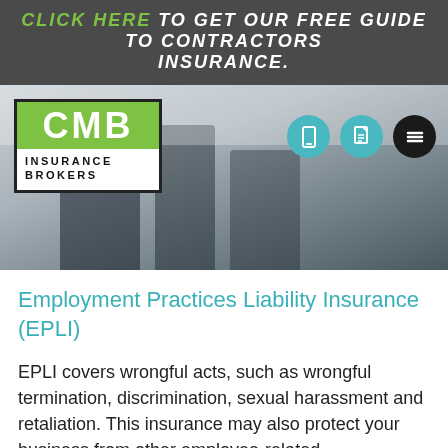CLICK HERE TO GET OUR FREE GUIDE TO CONTRACTORS INSURANCE.
[Figure (logo): CMB Insurance Brokers logo with green CMB box and navigation icons (phone, document, menu) on a blurred office background]
Employment Practices Liability Insurance (EPLI)
EPLI covers wrongful acts, such as wrongful termination, discrimination, sexual harassment and retaliation. This insurance may also protect your business from other employee-related